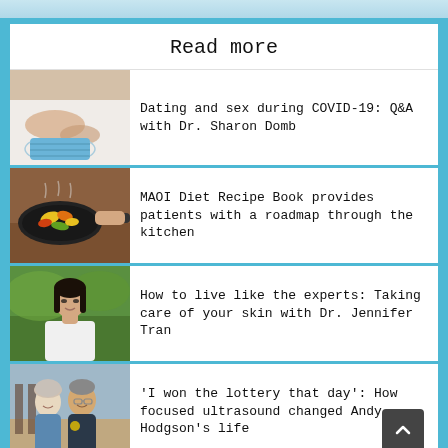Read more
Dating and sex during COVID-19: Q&A with Dr. Sharon Domb
MAOI Diet Recipe Book provides patients with a roadmap through the kitchen
How to live like the experts: Taking care of your skin with Dr. Jennifer Tran
'I won the lottery that day': How focused ultrasound changed Andy Hodgson's life